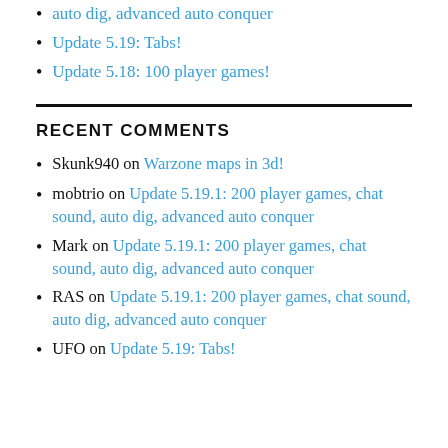auto dig, advanced auto conquer
Update 5.19: Tabs!
Update 5.18: 100 player games!
RECENT COMMENTS
Skunk940 on Warzone maps in 3d!
mobtrio on Update 5.19.1: 200 player games, chat sound, auto dig, advanced auto conquer
Mark on Update 5.19.1: 200 player games, chat sound, auto dig, advanced auto conquer
RAS on Update 5.19.1: 200 player games, chat sound, auto dig, advanced auto conquer
UFO on Update 5.19: Tabs!